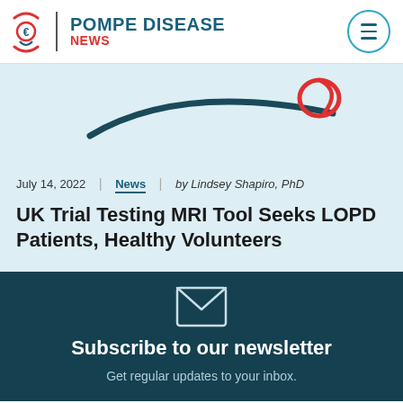POMPE DISEASE NEWS
[Figure (illustration): Decorative curved brush stroke illustration on light blue background]
July 14, 2022 | News | by Lindsey Shapiro, PhD
UK Trial Testing MRI Tool Seeks LOPD Patients, Healthy Volunteers
Subscribe to our newsletter
Get regular updates to your inbox.